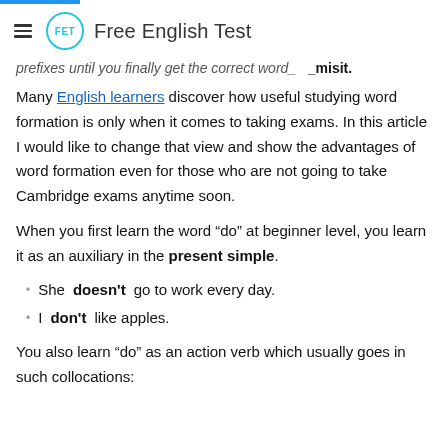Free English Test
prefixes until you finally get the correct word_   _misit.
Many English learners discover how useful studying word formation is only when it comes to taking exams. In this article I would like to change that view and show the advantages of word formation even for those who are not going to take Cambridge exams anytime soon.
When you first learn the word “do” at beginner level, you learn it as an auxiliary in the present simple.
She doesn't go to work every day.
I don't like apples.
You also learn “do” as an action verb which usually goes in such collocations: